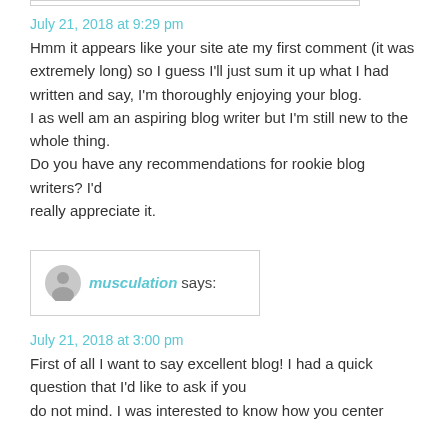July 21, 2018 at 9:29 pm
Hmm it appears like your site ate my first comment (it was extremely long) so I guess I'll just sum it up what I had written and say, I'm thoroughly enjoying your blog.
I as well am an aspiring blog writer but I'm still new to the whole thing.
Do you have any recommendations for rookie blog writers? I'd
really appreciate it.
musculation says:
July 21, 2018 at 3:00 pm
First of all I want to say excellent blog! I had a quick question that I'd like to ask if you do not mind. I was interested to know how you center